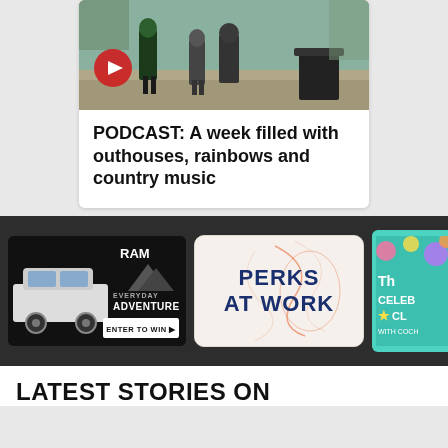[Figure (photo): Outdoor street scene with people walking, a person in green shirt visible, trash can in foreground. Red play button overlay in bottom-left of image.]
PODCAST: A week filled with outhouses, rainbows and country music
[Figure (photo): RAM truck advertisement - Everyday Adventure - Enter to Win button]
[Figure (logo): Perks At Work logo on light beige background with decorative orange line art]
[Figure (photo): Partial colorful advertisement on teal/cyan background, partially cut off on right edge]
LATEST STORIES ON